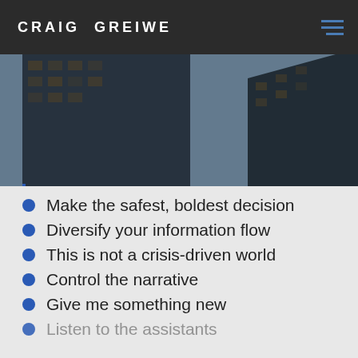CRAIG GREIWE
[Figure (photo): Looking-up view of dark glass skyscrapers against a blue sky]
Make the safest, boldest decision
Diversify your information flow
This is not a crisis-driven world
Control the narrative
Give me something new
Listen to the assistants